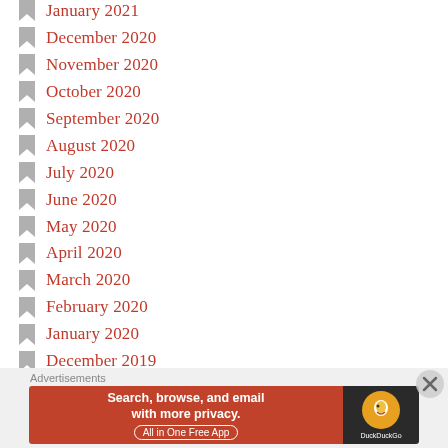January 2021
December 2020
November 2020
October 2020
September 2020
August 2020
July 2020
June 2020
May 2020
April 2020
March 2020
February 2020
January 2020
December 2019
November 2019
[Figure (other): DuckDuckGo advertisement banner: Search, browse, and email with more privacy. All in One Free App.]